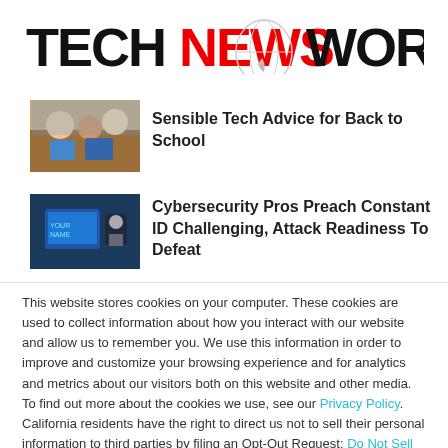[Figure (logo): TechNewsWorld logo with globe graphic - TECH in black, NEWS in red, WORLD in black bold letters]
[Figure (photo): Thumbnail photo of students with technology, back to school scene]
Sensible Tech Advice for Back to School
[Figure (photo): Thumbnail photo of person at computer with cybersecurity interface]
Cybersecurity Pros Preach Constant ID Challenging, Attack Readiness To Defeat
This website stores cookies on your computer. These cookies are used to collect information about how you interact with our website and allow us to remember you. We use this information in order to improve and customize your browsing experience and for analytics and metrics about our visitors both on this website and other media. To find out more about the cookies we use, see our Privacy Policy. California residents have the right to direct us not to sell their personal information to third parties by filing an Opt-Out Request: Do Not Sell My Personal Info.